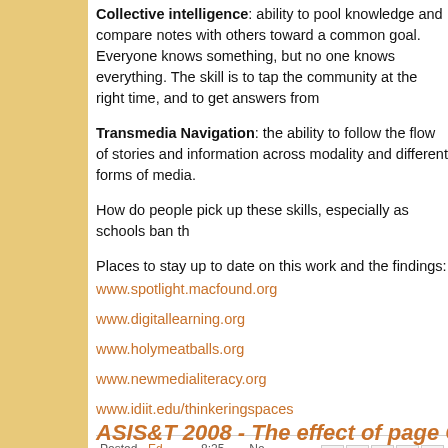Collective intelligence: ability to pool knowledge and compare notes with others toward a common goal. Everyone knows something, but no one knows everything. The skill is to tap the community at the right time, and to get answers from
Transmedia Navigation: the ability to follow the flow of stories and information across modality and different forms of media.
How do people pick up these skills, especially as schools ban th
Places to stay up to date on this work and the findings:
www.spotlight.macfound.org
www.digitallearning.org
www.holymeatballs.org
www.newmedialiteracy.org
www.idiit.edu/thinkeringspaces
Posted by Ed Dale at 8:25 AM   No comments:
ASIS&T 2008 - The effect of page Ca